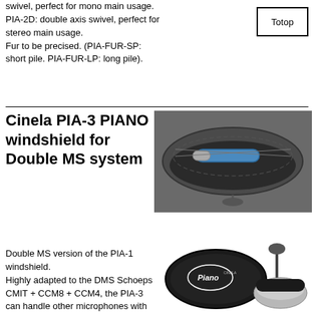swivel, perfect for mono main usage. PIA-2D: double axis swivel, perfect for stereo main usage. Fur to be precised. (PIA-FUR-SP: short pile. PIA-FUR-LP: long pile).
Totop
Cinela PIA-3 PIANO windshield for Double MS system
[Figure (photo): Cinela PIA-3 PIANO windshield open showing microphone inside (top), and carrying case and accessories (bottom)]
Double MS version of the PIA-1 windshield. Highly adapted to the DMS Schoeps CMIT + CCM8 + CCM4, the PIA-3 can handle other microphones with